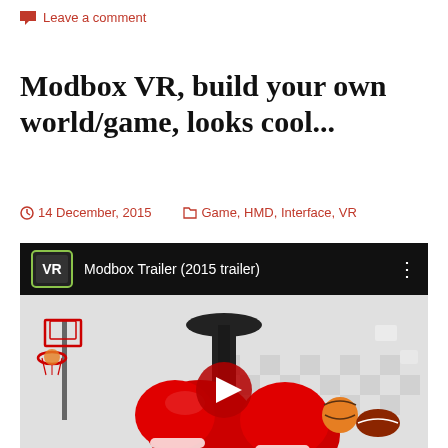Leave a comment
Modbox VR, build your own world/game, looks cool...
14 December, 2015   Game, HMD, Interface, VR
[Figure (screenshot): YouTube video thumbnail for Modbox Trailer (2015 trailer) showing a VR game scene with boxing gloves, basketball hoop, and sports balls in a white room environment]